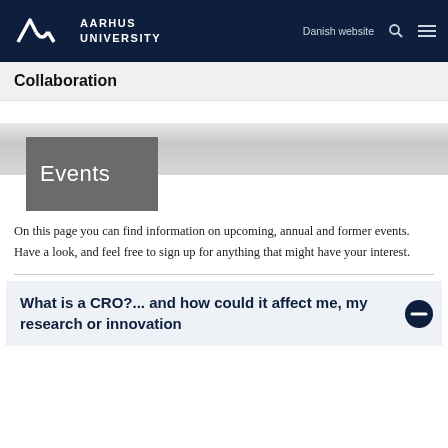[Figure (logo): Aarhus University logo with stylized AU symbol and text 'AARHUS UNIVERSITY' in white on dark navy header, with 'Danish website', search icon, and menu icon]
Collaboration
[Figure (photo): Grey marble/stone textured horizontal banner with dark grey overlay box containing the word 'Events' in white light-weight font]
On this page you can find information on upcoming, annual and former events. Have a look, and feel free to sign up for anything that might have your interest.
What is a CRO?... and how could it affect me, my research or innovation